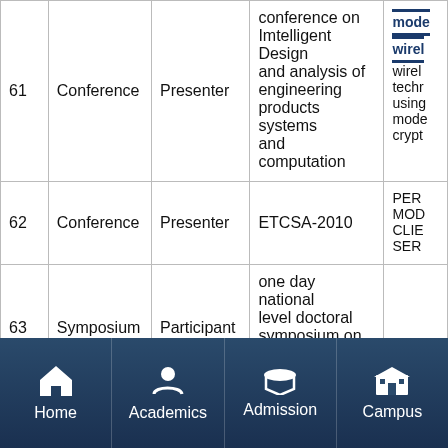| # | Type | Role | Event/Conference | Paper/Title |
| --- | --- | --- | --- | --- |
| 61 | Conference | Presenter | conference on Imtelligent Design and analysis of engineering products systems and computation | mode
wirel
wirel
techr
using
mode
crypt |
| 62 | Conference | Presenter | ETCSA-2010 | PER
MOD
CLIE
SER |
| 63 | Symposium | Participant | one day national level doctoral symposium on information technology |  |
| 64 |  |  | International conference of... | perfo
mode
clien
... |
[Figure (screenshot): Mobile app navigation bar with four icons: Home, Academics, Admission, Campus]